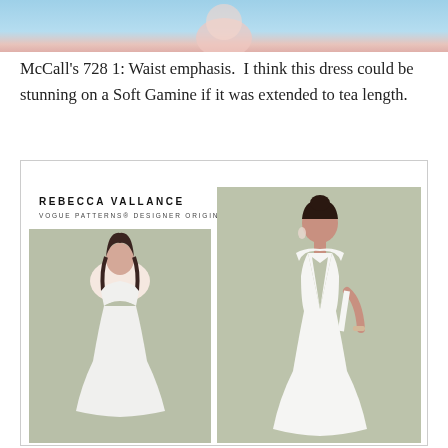[Figure (photo): Partial top image showing a light blue sky background with a partial figure, cropped at the top of the page]
McCall's 728 1: Waist emphasis.  I think this dress could be stunning on a Soft Gamine if it was extended to tea length.
[Figure (photo): Rebecca Vallance Vogue Patterns Designer Original pattern envelope showing a white halter-neck mermaid-style dress. Two views: back view on left showing open back with cutout waist detail, front view on right showing deep V-neckline with collar and fitted silhouette with flared hem. Both models wear white dresses against a sage green background.]